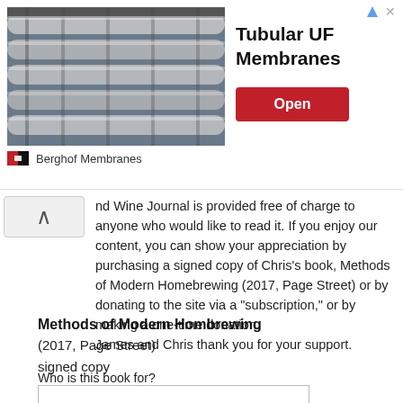[Figure (photo): Advertisement banner for Tubular UF Membranes by Berghof Membranes showing industrial pipes/tubes in a facility]
nd Wine Journal is provided free of charge to anyone who would like to read it. If you enjoy our content, you can show your appreciation by purchasing a signed copy of Chris's book, Methods of Modern Homebrewing (2017, Page Street) or by donating to the site via a "subscription," or by making a one-time donation.
James and Chris thank you for your support.
Methods of Modern Hombrewing
(2017, Page Street)
signed copy
Who is this book for?
[Figure (screenshot): Buy Now button with PayPal styling (yellow rounded button), below which are credit card icons: VISA, Mastercard, Maestro, American Express, Discover, and another card]